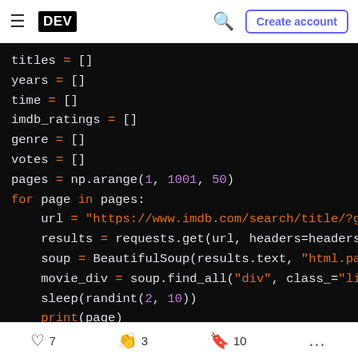DEV — navigation bar with hamburger menu, DEV logo, search icon, Create account button
[Figure (screenshot): Python code snippet on dark background showing web scraping code with variables titles, years, time, imdb_ratings, genre, votes, pages using np.arange, a for loop iterating pages with requests.get, BeautifulSoup, soup.find_all, sleep, print, and nested for loop for movieSection]
7 likes  3 unicorns  10 bookmarks  more options